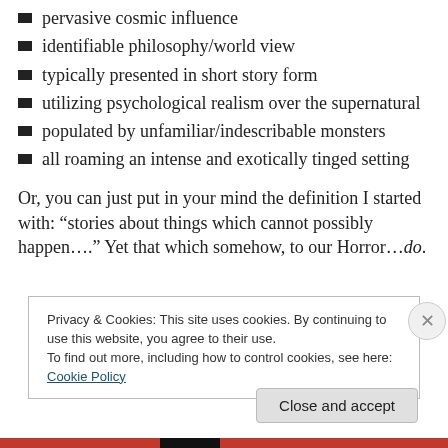pervasive cosmic influence
identifiable philosophy/world view
typically presented in short story form
utilizing psychological realism over the supernatural
populated by unfamiliar/indescribable monsters
all roaming an intense and exotically tinged setting
Or, you can just put in your mind the definition I started with: “stories about things which cannot possibly happen….” Yet that which somehow, to our Horror…do.
Privacy & Cookies: This site uses cookies. By continuing to use this website, you agree to their use.
To find out more, including how to control cookies, see here: Cookie Policy
Close and accept